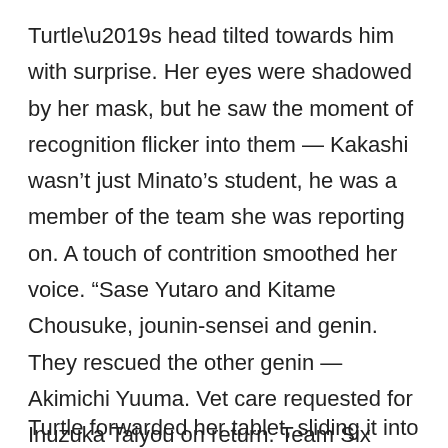Turtle’s head tilted towards him with surprise. Her eyes were shadowed by her mask, but he saw the moment of recognition flicker into them — Kakashi wasn’t just Minato’s student, he was a member of the team she was reporting on. A touch of contrition smoothed her voice. “Sase Yutaro and Kitame Chousuke, jounin-sensei and genin. They rescued the other genin — Akimichi Yuuma. Vet care requested for Inuzuka Taiyou on return. Team Six themselves didn’t report any significant injuries.”
Turtle forwarded her tablet, sliding it into Sat’s...